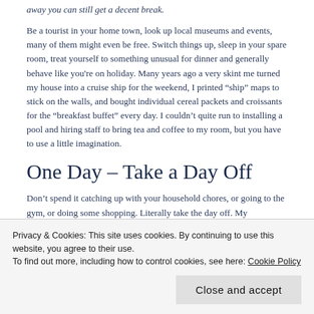away you can still get a decent break.
Be a tourist in your home town, look up local museums and events, many of them might even be free. Switch things up, sleep in your spare room, treat yourself to something unusual for dinner and generally behave like you're on holiday. Many years ago a very skint me turned my house into a cruise ship for the weekend, I printed “ship” maps to stick on the walls, and bought individual cereal packets and croissants for the “breakfast buffet” every day. I couldn’t quite run to installing a pool and hiring staff to bring tea and coffee to my room, but you have to use a little imagination.
One Day – Take a Day Off
Don’t spend it catching up with your household chores, or going to the gym, or doing some shopping. Literally take the day off. My
Privacy & Cookies: This site uses cookies. By continuing to use this website, you agree to their use.
To find out more, including how to control cookies, see here: Cookie Policy
Close and accept